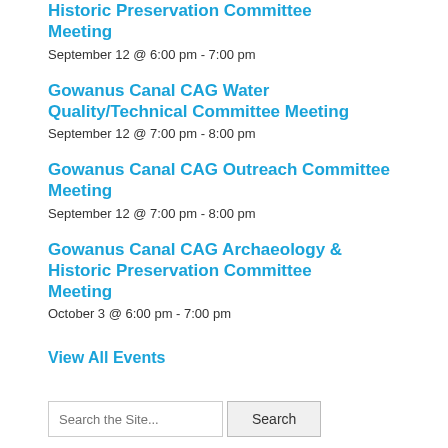Historic Preservation Committee Meeting
September 12 @ 6:00 pm - 7:00 pm
Gowanus Canal CAG Water Quality/Technical Committee Meeting
September 12 @ 7:00 pm - 8:00 pm
Gowanus Canal CAG Outreach Committee Meeting
September 12 @ 7:00 pm - 8:00 pm
Gowanus Canal CAG Archaeology & Historic Preservation Committee Meeting
October 3 @ 6:00 pm - 7:00 pm
View All Events
Search the Site... Search